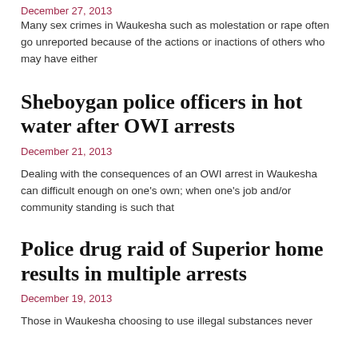December 27, 2013
Many sex crimes in Waukesha such as molestation or rape often go unreported because of the actions or inactions of others who may have either
Sheboygan police officers in hot water after OWI arrests
December 21, 2013
Dealing with the consequences of an OWI arrest in Waukesha can difficult enough on one's own; when one's job and/or community standing is such that
Police drug raid of Superior home results in multiple arrests
December 19, 2013
Those in Waukesha choosing to use illegal substances never